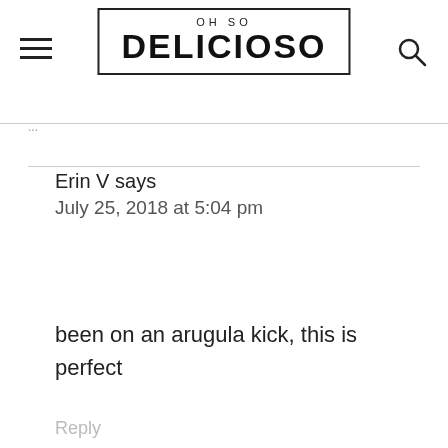OH SO DELICIOSO
Erin V says
July 25, 2018 at 5:04 pm
been on an arugula kick, this is perfect
Reply